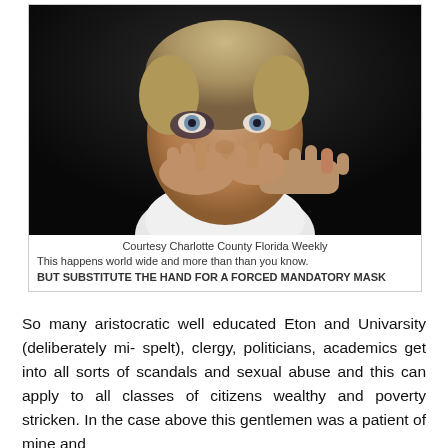[Figure (photo): A young boy with bruising around his eye, hands held against his face covering his mouth, appearing frightened. Dark background. A hand from another person is visible.]
Courtesy Charlotte County Florida Weekly
This happens world wide and more than than you know.
BUT SUBSTITUTE THE HAND FOR A FORCED MANDATORY MASK
So many aristocratic well educated Eton and Univarsity (deliberately mi- spelt), clergy, politicians, academics get into all sorts of scandals and sexual abuse and this can apply to all classes of citizens wealthy and poverty stricken. In the case above this gentlemen was a patient of mine and